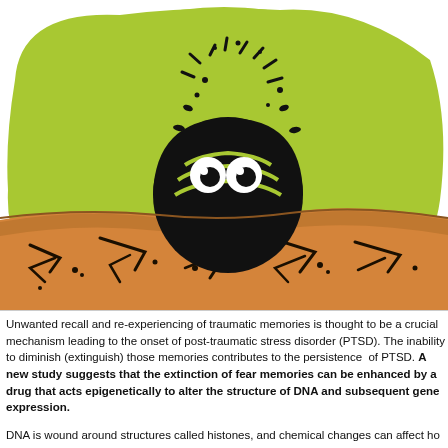[Figure (illustration): A cartoon illustration of a round black creature with white eyes peeking over a mound of dirt/earth, set against a bright green blob background. The creature resembles a scared or timid animal hiding underground, with motion lines radiating around it. The ground shows cracked, dark earth texture in orange/brown tones.]
Unwanted recall and re-experiencing of traumatic memories is thought to be a crucial mechanism leading to the onset of post-traumatic stress disorder (PTSD). The inability to diminish (extinguish) those memories contributes to the persistence of PTSD. A new study suggests that the extinction of fear memories can be enhanced by a drug that acts epigenetically to alter the structure of DNA and subsequent gene expression.
DNA is wound around structures called histones, and chemical changes can affect how tightly the DNA is wound. Alternatively, it has been suggested that the DNA itself can be chemically modified.